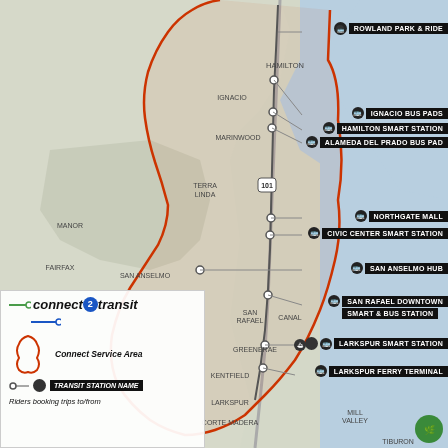[Figure (map): Transit map of Marin County showing Connect2Transit service area (orange boundary), SMART rail line, bus stations, and park & ride locations. Key locations labeled include Hamilton, Ignacio, Marinwood, Terra Linda, San Anselmo, San Rafael, Greenbrae, Kentfield, Larkspur, Corte Madera, Mill Valley, and Tiburon. Station stops shown with connector lines to labeled black boxes on the right side.]
ROWLAND PARK & RIDE
IGNACIO BUS PADS
HAMILTON SMART STATION
ALAMEDA DEL PRADO BUS PAD
NORTHGATE MALL
CIVIC CENTER SMART STATION
SAN ANSELMO HUB
SAN RAFAEL DOWNTOWN SMART & BUS STATION
LARKSPUR SMART STATION
LARKSPUR FERRY TERMINAL
Connect Service Area
TRANSIT STATION NAME
Riders booking trips to/from